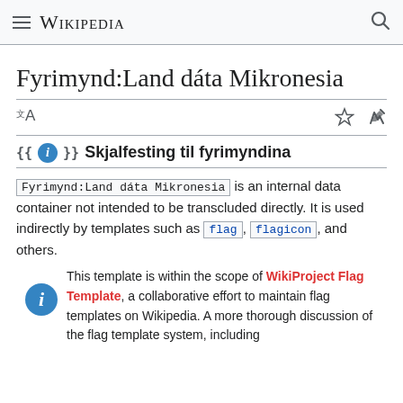Wikipedia
Fyrimynd:Land dáta Mikronesia
{{ℹ}} Skjalfesting til fyrimyndina
Fyrimynd:Land dáta Mikronesia is an internal data container not intended to be transcluded directly. It is used indirectly by templates such as flag, flagicon, and others.
This template is within the scope of WikiProject Flag Template, a collaborative effort to maintain flag templates on Wikipedia. A more thorough discussion of the flag template system, including